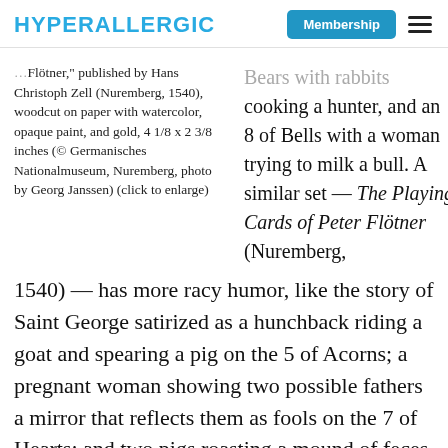HYPERALLERGIC | Membership
Flötner," published by Hans Christoph Zell (Nuremberg, 1540), woodcut on paper with watercolor, opaque paint, and gold, 4 1/8 x 2 3/8 inches (© Germanisches Nationalmuseum, Nuremberg, photo by Georg Janssen) (click to enlarge)
Bears with rabbits cooking a hunter, and an 8 of Bells with a woman trying to milk a bull. A similar set — The Playing Cards of Peter Flötner (Nuremberg, 1540) — has more racy humor, like the story of Saint George satirized as a hunchback riding a goat and spearing a pig on the 5 of Acorns; a pregnant woman showing two possible fathers a mirror that reflects them as fools on the 7 of Hearts; and two pigs roasting a mound of feces